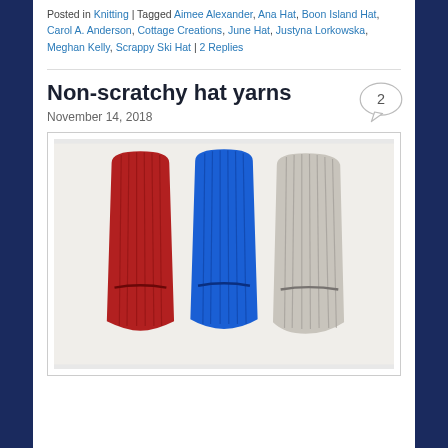Posted in Knitting | Tagged Aimee Alexander, Ana Hat, Boon Island Hat, Carol A. Anderson, Cottage Creations, June Hat, Justyna Lorkowska, Meghan Kelly, Scrappy Ski Hat | 2 Replies
Non-scratchy hat yarns
November 14, 2018
[Figure (photo): Three ribbed knitted hats laid flat on a white surface: one red on the left, one blue in the center, and one gray on the right. Each hat has a horizontal opening/slit near the lower portion.]